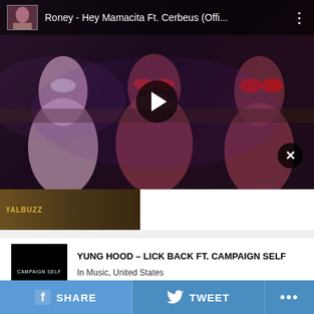[Figure (screenshot): Video player showing music video thumbnail with play button overlay. Title bar reads: Roney - Hey Mamacita Ft. Cerbeus (Offi... with three-dot menu. Close X button in lower right. Dark atmospheric scene.]
[Figure (photo): Small thumbnail strip at bottom of video area showing partial image with yellow text YALBUZZ]
YUNG HOOD – LICK BACK FT. CAMPAIGN SELF
In Music, United States
September 30, 2021
SHARE
TWEET
...